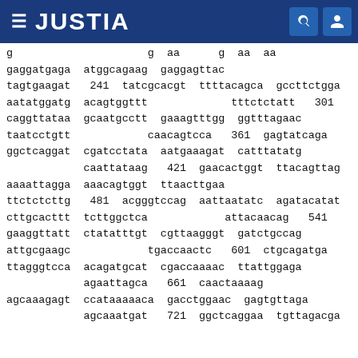JUSTIA
gaggatgaga  atggcagaag  gaggagttac
tagtgaagat   241  tatcgcacgt  ttttacagca  gccttctgga
aatatggatg  acagtggttt             tttctctatt   301
caggttataa  gcaatgcctt  gaaagtttgg  ggtttagaac
taatcctgtt            caacagtcca   361  gagtatcaga
ggctcaggat  cgatcctata  aatgaaagat  catttatatg
            caattataag   421  gaacactggt  ttacagttag
aaaattagga  aaacagtggt  ttaacttgaa
ttctctcttg   481  acgggtccag  aattaatatc  agatacatat
cttgcacttt  tcttggctca            attacaacag   541
gaaggttatt  ctatatttgt  cgttaagggt  gatctgccag
attgcgaagc            tgaccaactc   601  ctgcagatga
ttagggtcca  acagatgcat  cgaccaaaac  ttattggaga
            agaattagca   661  caactaaaag
agcaaagagt  ccataaaaaca  gacctggaac  gagtgttaga
            agcaaatgat   721  ggctcaggaa  tgttagacga